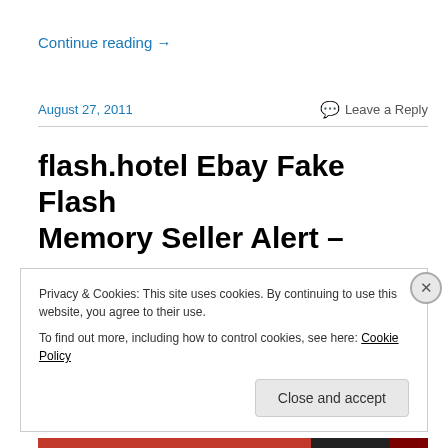Continue reading →
August 27, 2011
Leave a Reply
flash.hotel Ebay Fake Flash Memory Seller Alert –
Privacy & Cookies: This site uses cookies. By continuing to use this website, you agree to their use.
To find out more, including how to control cookies, see here: Cookie Policy
Close and accept